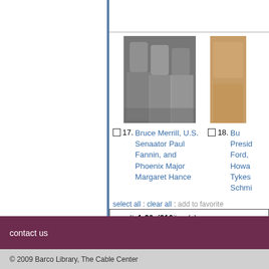[Figure (photo): Black and white photograph of three people: two men in suits and a woman, appearing to be at a formal event]
17. Bruce Merrill, U.S. Senaator Paul Fannin, and Phoenix Major Margaret Hance
[Figure (photo): Partial color photograph of a person, cropped on the right side]
18. Bu... Presid... Ford, Howard Tykes... Schmi...
select all : clear all : add to favorite
results 1-20 of 916 item(s)
contact us
© 2009 Barco Library, The Cable Center